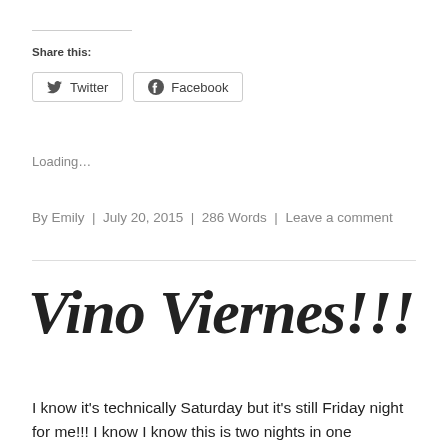Share this:
Twitter  Facebook
Loading…
By Emily | July 20, 2015 | 286 Words | Leave a comment
Vino Viernes!!!
I know it's technically Saturday but it's still Friday night for me!!! I know I know this is two nights in one